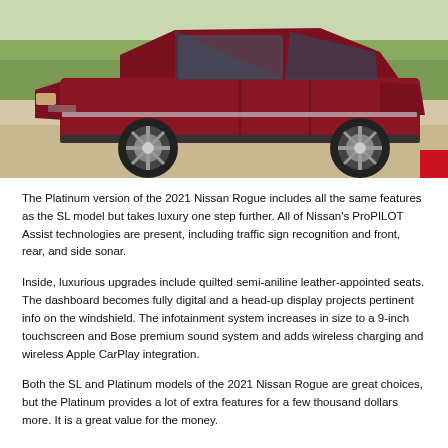[Figure (photo): Red 2021 Nissan Rogue SUV photographed from the rear three-quarter angle, parked on a road with green trees in the background.]
The Platinum version of the 2021 Nissan Rogue includes all the same features as the SL model but takes luxury one step further. All of Nissan's ProPILOT Assist technologies are present, including traffic sign recognition and front, rear, and side sonar.
Inside, luxurious upgrades include quilted semi-aniline leather-appointed seats. The dashboard becomes fully digital and a head-up display projects pertinent info on the windshield. The infotainment system increases in size to a 9-inch touchscreen and Bose premium sound system and adds wireless charging and wireless Apple CarPlay integration.
Both the SL and Platinum models of the 2021 Nissan Rogue are great choices, but the Platinum provides a lot of extra features for a few thousand dollars more. It is a great value for the money.